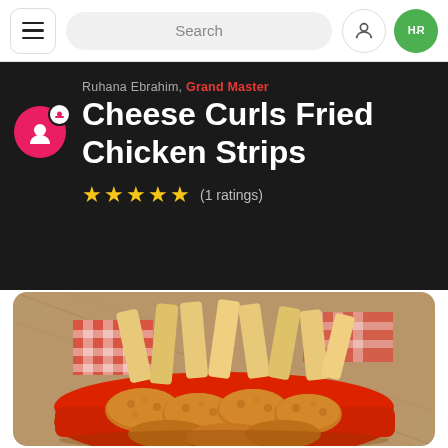Navigation bar with hamburger menu, search bar, user icon, HR logo
Ruhana Ebrahim, Grand Master
Cheese Curls Fried Chicken Strips
★★★★★ (1 ratings)
[Figure (photo): Photo of cheese curls fried chicken strips in a red basket with french fries and red checkered paper liner, on a burlap background]